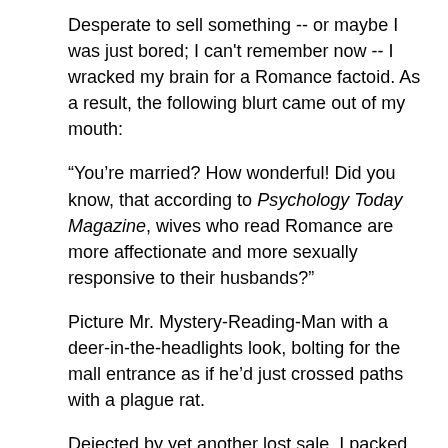Desperate to sell something -- or maybe I was just bored; I can't remember now -- I wracked my brain for a Romance factoid.  As a result, the following blurt came out of my mouth:
“You’re married?  How wonderful!  Did you know, that according to Psychology Today Magazine, wives who read Romance are more affectionate and more sexually responsive to their husbands?”
Picture Mr. Mystery-Reading-Man with a deer-in-the-headlights look, bolting for the mall entrance as if he’d just crossed paths with a plague rat.
Dejected by yet another lost sale, I packed my belongings, said farewell to the book store staff, and proceeded to slink out the door.
Suddenly,  who should I spy, but Mr. Mystery-Reading-Man, standing beside my book signing table.  What was this venerable gentleman doing?